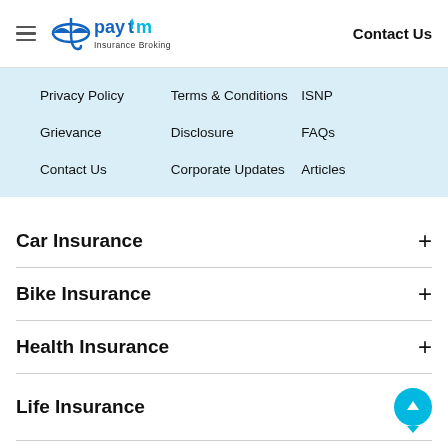Paytm Insurance Broking — Contact Us
Privacy Policy
Terms & Conditions
ISNP
Grievance
Disclosure
FAQs
Contact Us
Corporate Updates
Articles
Car Insurance
Bike Insurance
Health Insurance
Life Insurance